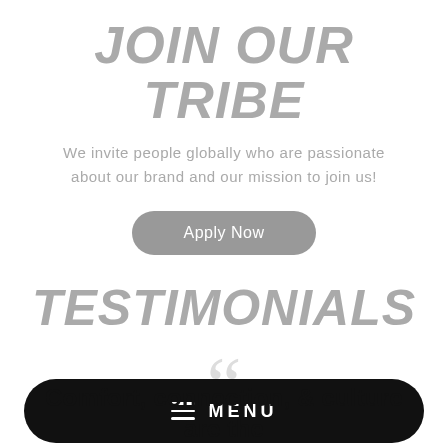JOIN OUR TRIBE
We invite people globally who are passionate about our brand and our mission to join us!
Apply Now
TESTIMONIALS
Comfort, connection, & culture are the
MENU